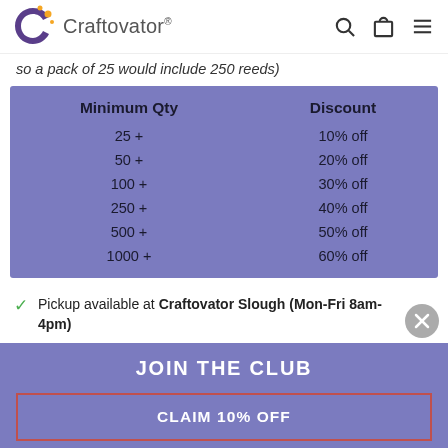Craftovator®
so a pack of 25 would include 250 reeds)
| Minimum Qty | Discount |
| --- | --- |
| 25 + | 10% off |
| 50 + | 20% off |
| 100 + | 30% off |
| 250 + | 40% off |
| 500 + | 50% off |
| 1000 + | 60% off |
Pickup available at Craftovator Slough (Mon-Fri 8am-4pm)
JOIN THE CLUB
CLAIM 10% OFF